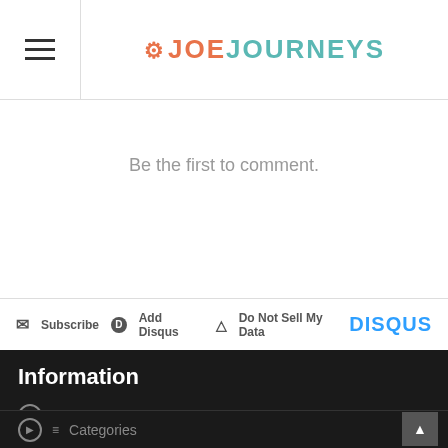JoeJourneys
Be the first to comment.
Subscribe  Add Disqus  Do Not Sell My Data  DISQUS
Information
COVID-19 World Map
Maps
Categories